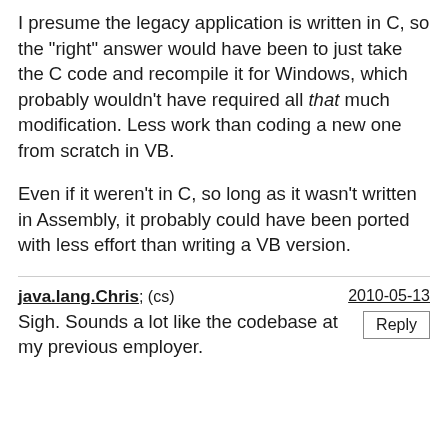I presume the legacy application is written in C, so the "right" answer would have been to just take the C code and recompile it for Windows, which probably wouldn't have required all that much modification. Less work than coding a new one from scratch in VB.

Even if it weren't in C, so long as it wasn't written in Assembly, it probably could have been ported with less effort than writing a VB version.
java.lang.Chris; (cs)  2010-05-13
Sigh. Sounds a lot like the codebase at my previous employer.